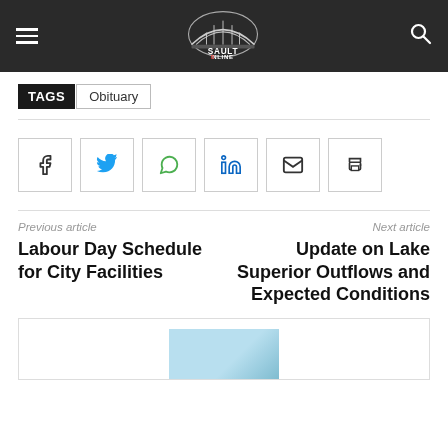Sault Online – site header with navigation and logo
TAGS  Obituary
[Figure (infographic): Social share buttons: Facebook, Twitter, WhatsApp, LinkedIn, Email, Print]
Previous article
Labour Day Schedule for City Facilities
Next article
Update on Lake Superior Outflows and Expected Conditions
[Figure (photo): Partial image visible at the bottom of the page, appears to be a landscape photo]